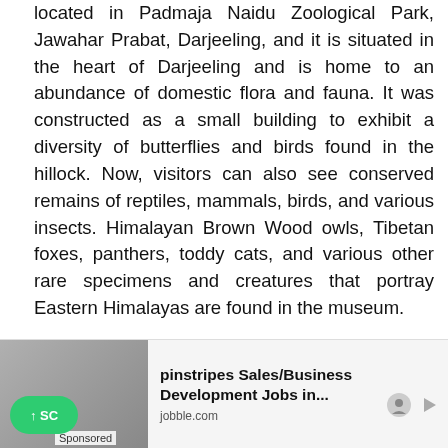located in Padmaja Naidu Zoological Park, Jawahar Prabat, Darjeeling, and it is situated in the heart of Darjeeling and is home to an abundance of domestic flora and fauna. It was constructed as a small building to exhibit a diversity of butterflies and birds found in the hillock. Now, visitors can also see conserved remains of reptiles, mammals, birds, and various insects. Himalayan Brown Wood owls, Tibetan foxes, panthers, toddy cats, and various other rare specimens and creatures that portray Eastern Himalayas are found in the museum.
Activities to do- Souvenir hunting
Opening hours- 8 am- 7:30 pm (closed on Sundays)
[Figure (screenshot): Advertisement bar at the bottom showing a sponsored job ad for pinstripes Sales/Business Development Jobs in... from jobble.com, with a green scroll-up button on the left and a small image of people in a meeting.]